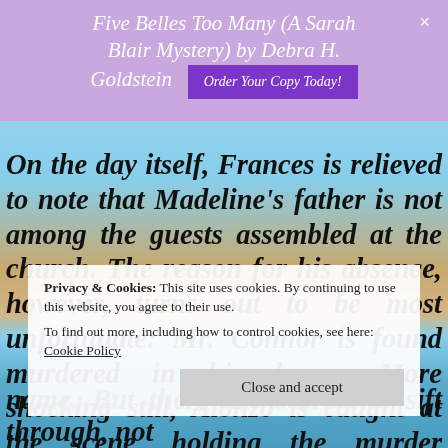Five Belles Too Many (A Sarah Blair Mystery) by Debra H. Goldstein
On the day itself, Frances is relieved to note that Madeline's father is not among the guests assembled at the church. The reason for his absence, however, turns out to be most unfortunate: Mr. Connor is found murdered in his home. More shocking still, Alonzo is caught at the scene, holding the murder weapon.
Privacy & Cookies: This site uses cookies. By continuing to use this website, you agree to their use. To find out more, including how to control cookies, see here: Cookie Policy
name. But there are secrets to sift through, not